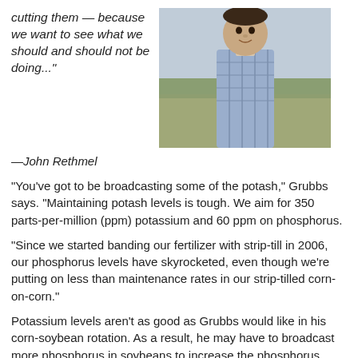cutting them — because we want to see what we should and should not be doing..."
[Figure (photo): Photo of a man in a plaid shirt standing in front of an agricultural field]
—John Rethmel
"You've got to be broadcasting some of the potash," Grubbs says. "Maintaining potash levels is tough. We aim for 350 parts-per-million (ppm) potassium and 60 ppm on phosphorus.
"Since we started banding our fertilizer with strip-till in 2006, our phosphorus levels have skyrocketed, even though we're putting on less than maintenance rates in our strip-tilled corn-on-corn."
Potassium levels aren't as good as Grubbs would like in his corn-soybean rotation. As a result, he may have to broadcast more phosphorus in soybeans to increase the phosphorus levels.
"In the last 4 years in the continuous corn that we've strip-tilled and handed fertilizer, it's been amazing how fast the phosphorus